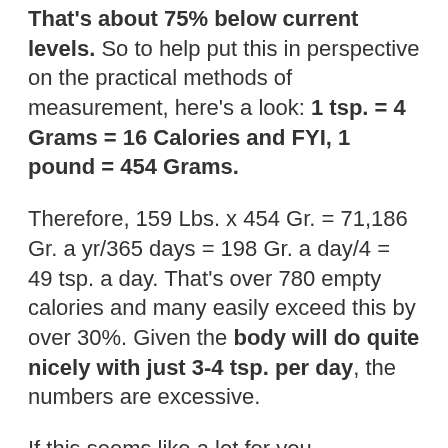That's about 75% below current levels.  So to help put this in perspective on the practical methods of measurement, here's a look: 1 tsp. = 4 Grams = 16 Calories and FYI, 1 pound = 454 Grams.
Therefore, 159 Lbs. x 454 Gr. = 71,186 Gr. a yr/365 days = 198 Gr. a day/4 = 49 tsp. a day. That's over 780 empty calories and many easily exceed this by over 30%. Given the body will do quite nicely with just 3-4 tsp. per day, the numbers are excessive.
If this seems like a lot for you,